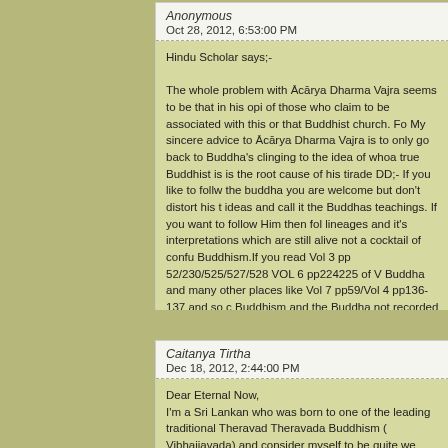Anonymous
Oct 28, 2012, 6:53:00 PM
Hindu Scholar says;-

The whole problem with Ācārya Dharma Vajra seems to be that in his opi of those who claim to be associated with this or that Buddhist church. Fo My sincere advice to Ācārya Dharma Vajra is to only go back to Buddha's clinging to the idea of whoa true Buddhist is is the root cause of his tirade DD;- If you like to follw the buddha you are welcome but don't distort his t ideas and call it the Buddhas teachings. If you want to follow Him then fol lineages and it's interpretations which are still alive not a cocktail of confu Buddhism.If you read Vol 3 pp 52/230/525/527/528 VOL 6 pp224225 of V Buddha and many other places like Vol 7 pp59/Vol 4 pp136-137 and so c Buddhism and the Buddha not recorded either in the Buddhist Canons or myths of Hindu Swamis and scholars like himself and yourself. Thank you for the opportunity to clarify many misconceptions that Hindu s for being bold enough to come out freely like the Ancient Indian Panditas
Caitanya Tirtha
Dec 18, 2012, 2:44:00 PM
Dear Eternal Now,
I'm a Sri Lankan who was born to one of the leading traditional Theravad Theravada Buddhism ( Vibhajjavada) and consider myself to be quite we gradual development of different schools of Buddhist thought.Now I am a point out that most of your comments regarding apparent hindu scholars vedantist and,
just a religious reformer to be correct. But also I would like to point out th have their own "absurd"idea about who Buddha was and what he "really statements".I believe that you are aware that most scholars believe Pali T teachings while most Mahayanic ideas to be latter concoctions including Buddha ( based on Sri Laita Vistara and Buddha carita) which is some w